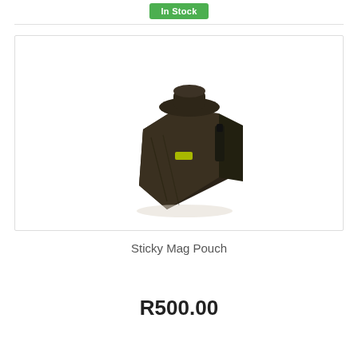In Stock
[Figure (photo): A black Sticky Mag Pouch — a compact magazine holder/pouch with a clip attachment and small yellow accent detail, photographed on white background.]
Sticky Mag Pouch
R500.00